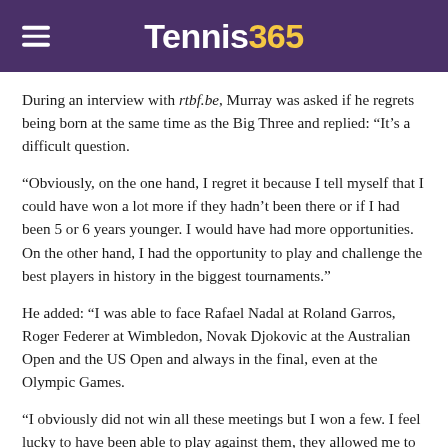Tennis365
During an interview with rtbf.be, Murray was asked if he regrets being born at the same time as the Big Three and replied: “It’s a difficult question.
“Obviously, on the one hand, I regret it because I tell myself that I could have won a lot more if they hadn’t been there or if I had been 5 or 6 years younger. I would have had more opportunities. On the other hand, I had the opportunity to play and challenge the best players in history in the biggest tournaments.”
He added: “I was able to face Rafael Nadal at Roland Garros, Roger Federer at Wimbledon, Novak Djokovic at the Australian Open and the US Open and always in the final, even at the Olympic Games.
“I obviously did not win all these meetings but I won a few. I feel lucky to have been able to play against them, they allowed me to improve by setting the bar so high.”